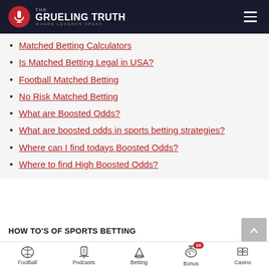THE GRUELING TRUTH WHERE LEGENDS SPEAK
Matched Betting Calculators
Is Matched Betting Legal in USA?
Football Matched Betting
No Risk Matched Betting
What are Boosted Odds?
What are boosted odds in sports betting strategies?
Where can I find todays Boosted Odds?
Where to find High Boosted Odds?
HOW TO'S OF SPORTS BETTING
[Figure (infographic): Caesars Sports Bonus advertisement: 100% up to $1500 with Caesars Sportsbook logo and close button]
Football | Podcasts | Betting | Bonus (10) | Casino